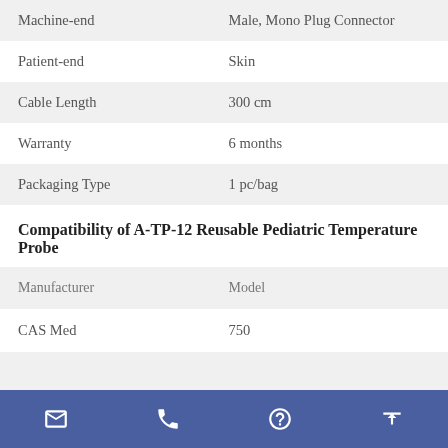|  |  |
| --- | --- |
| Machine-end | Male, Mono Plug Connector |
| Patient-end | Skin |
| Cable Length | 300 cm |
| Warranty | 6 months |
| Packaging Type | 1 pc/bag |
Compatibility of A-TP-12 Reusable Pediatric Temperature Probe
| Manufacturer | Model |
| --- | --- |
| CAS Med | 750 |
Email | Phone | Chat | Upload (navigation icons)